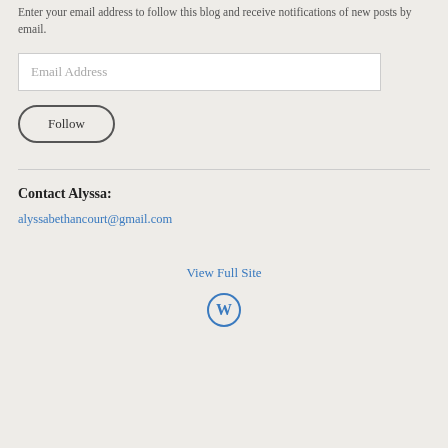Enter your email address to follow this blog and receive notifications of new posts by email.
[Figure (other): Email address input field with placeholder text 'Email Address']
[Figure (other): Follow button with rounded pill border]
Contact Alyssa:
alyssabethancourt@gmail.com
View Full Site
[Figure (logo): WordPress logo mark (W in circle)]